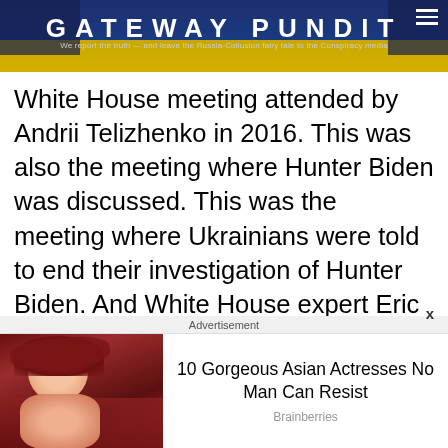GATEWAY PUNDIT — We report the truth — and leave the Russia-Collusion fairy tale to the Conspiracy media
White House meeting attended by Andrii Telizhenko in 2016.  This was also the meeting where Hunter Biden was discussed.  This was the meeting where Ukrainians were told to end their investigation of Hunter Biden.  And White House expert Eric Ciaramella HOSTED the January 19, 2016 meeting.
We now have uncovered other individuals with shady backgrounds who visited Eric
Advertisement
[Figure (photo): Advertisement image: woman with red hair and red hat]
10 Gorgeous Asian Actresses No Man Can Resist
Brainberries